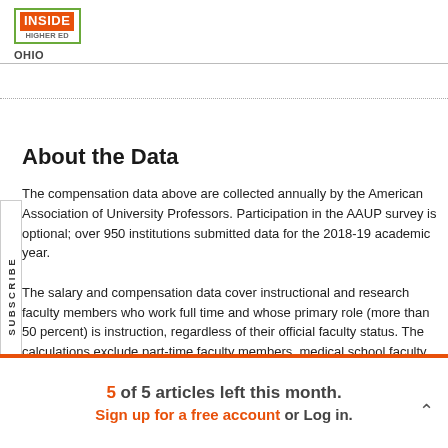INSIDE HIGHER ED — OHIO
About the Data
The compensation data above are collected annually by the American Association of University Professors. Participation in the AAUP survey is optional; over 950 institutions submitted data for the 2018-19 academic year.

The salary and compensation data cover instructional and research faculty members who work full time and whose primary role (more than 50 percent) is instruction, regardless of their official faculty status. The calculations exclude part-time faculty members, medical school faculty members, professors at military institutions who are
5 of 5 articles left this month.
Sign up for a free account or Log in.